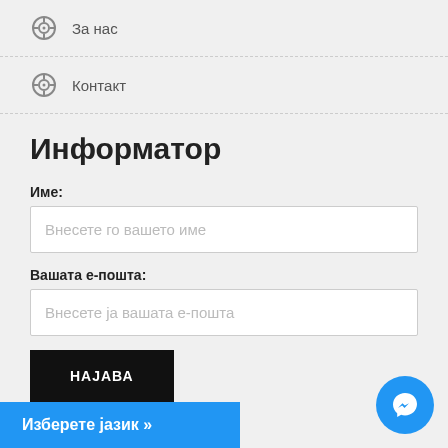За нас
Контакт
Информатор
Име:
Внесете го вашето име
Вашата е-пошта:
Внесете ја вашата е-пошта
НАЈАВА
Изберете јазик »